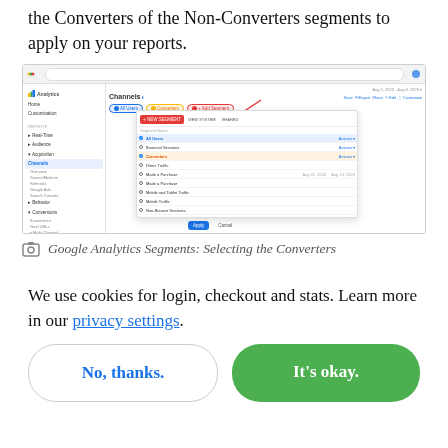the Converters of the Non-Converters segments to apply on your reports.
[Figure (screenshot): Google Analytics interface showing the Channels report with segment selection dialog open. A red arrow points to 'Converters' segment option. The interface shows a list of segments including All Users, Bounced Sessions, Converters, Direct Traffic, and others.]
Google Analytics Segments: Selecting the Converters
We use cookies for login, checkout and stats. Learn more in our privacy settings.
No, thanks.
It's okay.